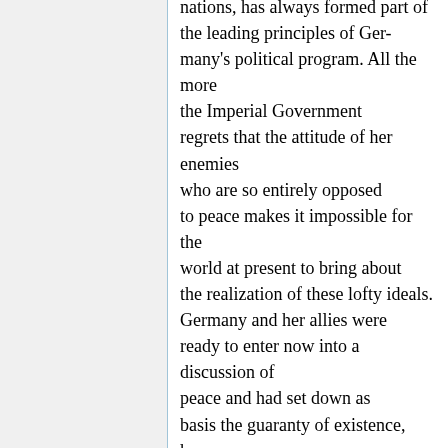nations, has always formed part of the leading principles of Germany's political program. All the more the Imperial Government regrets that the attitude of her enemies who are so entirely opposed to peace makes it impossible for the world at present to bring about the realization of these lofty ideals. Germany and her allies were ready to enter now into a discussion of peace and had set down as basis the guaranty of existence, honor and free development of their peoples. Their aims, as has been expressly stated in the note of December 12, 1916, were not directed towards the destruction or annihilation of their enemies and were according to their conviction perfectly compatible with the rights of the